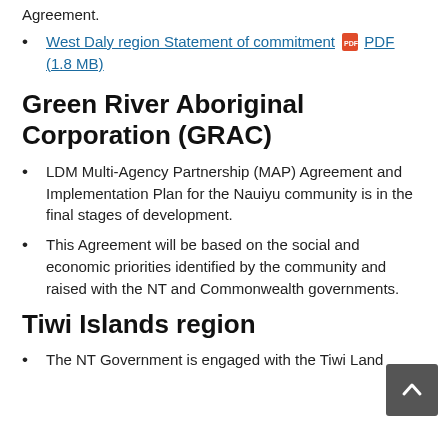Agreement.
West Daly region Statement of commitment PDF (1.8 MB)
Green River Aboriginal Corporation (GRAC)
LDM Multi-Agency Partnership (MAP) Agreement and Implementation Plan for the Nauiyu community is in the final stages of development.
This Agreement will be based on the social and economic priorities identified by the community and raised with the NT and Commonwealth governments.
Tiwi Islands region
The NT Government is engaged with the Tiwi Land